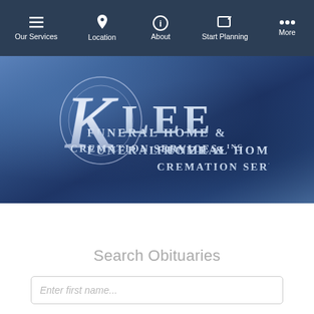Our Services | Location | About | Start Planning | More
[Figure (logo): Klee Funeral Home & Cremation Services, Inc. logo on a blue textured background with decorative script K]
Search Obituaries
Enter first name...